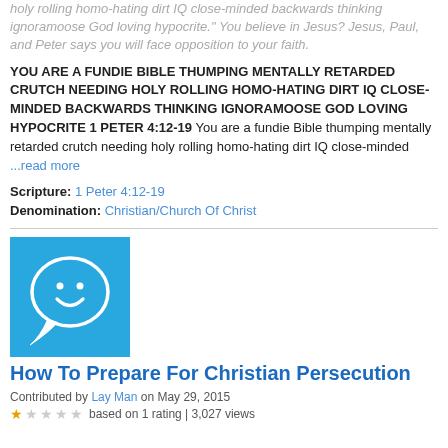holy rolling homo-hating dirt IQ close-minded backwards thinking ignoramoose God loving hypocrite." You believe in Jesus? Jesus, Paul, and Peter says you will face opposition to your faith.
YOU ARE A FUNDIE BIBLE THUMPING MENTALLY RETARDED CRUTCH NEEDING HOLY ROLLING HOMO-HATING DIRT IQ CLOSE-MINDED BACKWARDS THINKING IGNORAMOOSE GOD LOVING HYPOCRITE 1 PETER 4:12-19 You are a fundie Bible thumping mentally retarded crutch needing holy rolling homo-hating dirt IQ close-minded ...read more
Scripture: 1 Peter 4:12-19
Denomination: Christian/Church Of Christ
[Figure (illustration): Blue square icon with a white speech bubble smiley face]
How To Prepare For Christian Persecution
Contributed by Lay Man on May 29, 2015
★☆☆☆☆ based on 1 rating | 3,027 views